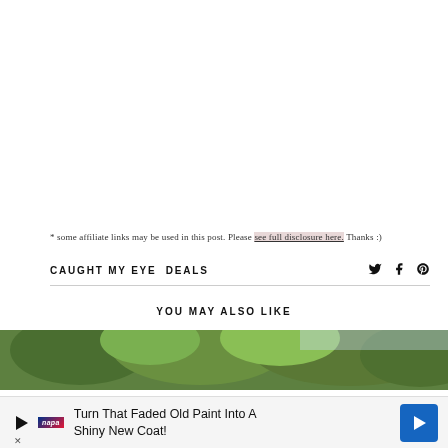* some affiliate links may be used in this post. Please see full disclosure here. Thanks :)
CAUGHT MY EYE  DEALS
YOU MAY ALSO LIKE
[Figure (photo): Outdoor scene with trees and greenery, partially visible at bottom of page]
[Figure (infographic): Advertisement banner: Turn That Faded Old Paint Into A Shiny New Coat! with NAPA logo and blue arrow button]